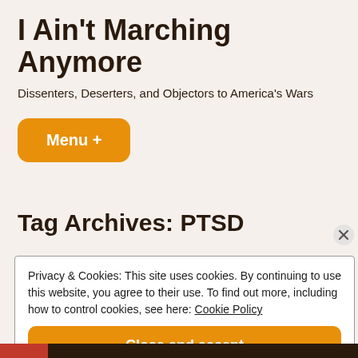I Ain't Marching Anymore
Dissenters, Deserters, and Objectors to America's Wars
Menu +
Tag Archives: PTSD
Privacy & Cookies: This site uses cookies. By continuing to use this website, you agree to their use. To find out more, including how to control cookies, see here: Cookie Policy
Close and accept